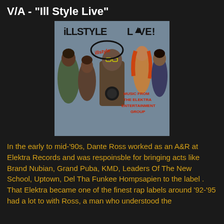V/A - "Ill Style Live"
[Figure (photo): Album cover for 'iLLSTYLE LIVE!' featuring illustrated artwork of multiple hip-hop figures. Text on cover reads 'iLLSTYLE LIVE!' at top and 'MUSIC FROM THE ELEKTRA ENTERTAINMENT GROUP' on the lower right.]
In the early to mid-'90s, Dante Ross worked as an A&R at Elektra Records and was respoinsble for bringing acts like Brand Nubian, Grand Puba, KMD, Leaders Of The New School, Uptown, Del Tha Funkee Hompsapien to the label . That Elektra became one of the finest rap labels around '92-'95 had a lot to with Ross, a man who understood the